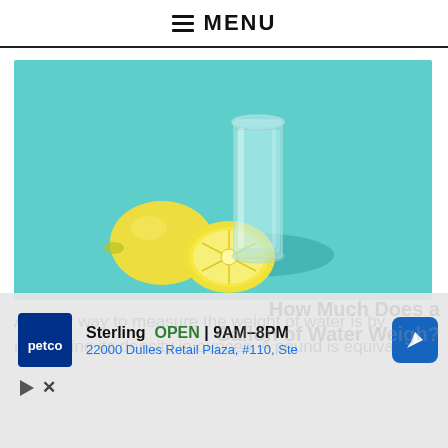MENU
[Figure (photo): A glass of water next to two lemons (one whole, one halved) on a teal/turquoise background.]
Another way to measure the weight of water is by measuring its density in ounces. A pound is equivalent to 16 ounces, which means 3.5 ounces
[Figure (other): Advertisement overlay for Petco Sterling location. Shows Petco logo, 'Sterling OPEN | 9AM-8PM', address '22000 Dulles Retail Plaza, #110, Ste', navigation arrow icon, and partial background text 'How Much Does a Gallon of Water Weigh?']